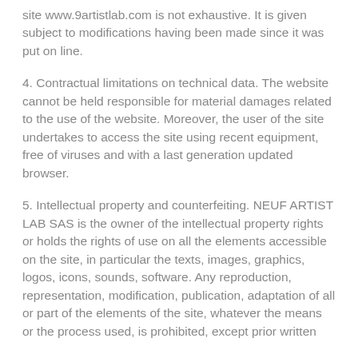site www.9artistlab.com is not exhaustive. It is given subject to modifications having been made since it was put on line.
4. Contractual limitations on technical data. The website cannot be held responsible for material damages related to the use of the website. Moreover, the user of the site undertakes to access the site using recent equipment, free of viruses and with a last generation updated browser.
5. Intellectual property and counterfeiting. NEUF ARTIST LAB SAS is the owner of the intellectual property rights or holds the rights of use on all the elements accessible on the site, in particular the texts, images, graphics, logos, icons, sounds, software. Any reproduction, representation, modification, publication, adaptation of all or part of the elements of the site, whatever the means or the process used, is prohibited, except prior written